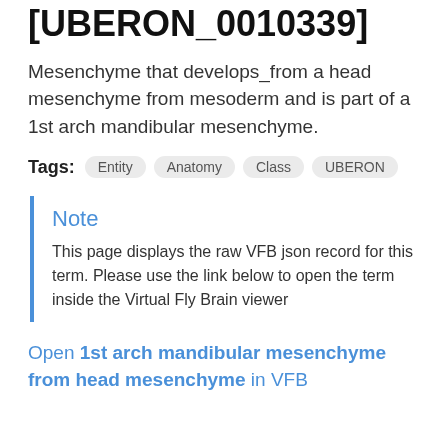[UBERON_0010339]
Mesenchyme that develops_from a head mesenchyme from mesoderm and is part of a 1st arch mandibular mesenchyme.
Tags: Entity  Anatomy  Class  UBERON
Note
This page displays the raw VFB json record for this term. Please use the link below to open the term inside the Virtual Fly Brain viewer
Open 1st arch mandibular mesenchyme from head mesenchyme in VFB